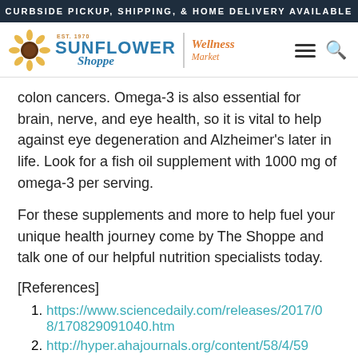CURBSIDE PICKUP, SHIPPING, & HOME DELIVERY AVAILABLE
[Figure (logo): Sunflower Shoppe Wellness Market logo with sunflower icon, blue text reading SUNFLOWER Shoppe, orange divider, and orange italic text Wellness Market, with hamburger menu and search icons]
colon cancers. Omega-3 is also essential for brain, nerve, and eye health, so it is vital to help against eye degeneration and Alzheimer's later in life. Look for a fish oil supplement with 1000 mg of omega-3 per serving.
For these supplements and more to help fuel your unique health journey come by The Shoppe and talk one of our helpful nutrition specialists today.
[References]
https://www.sciencedaily.com/releases/2017/08/170829091040.htm
http://hyper.ahajournals.org/content/58/4/59